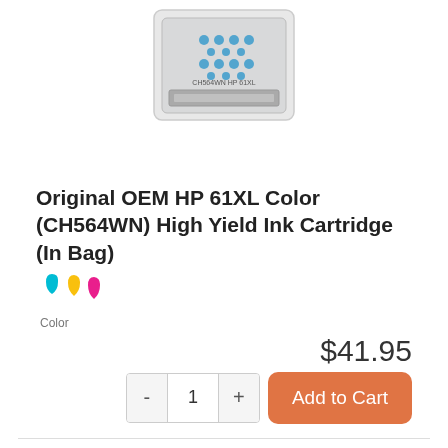[Figure (photo): HP ink cartridge in plastic bag, viewed from above, top portion visible]
Original OEM HP 61XL Color (CH564WN) High Yield Ink Cartridge (In Bag)
[Figure (illustration): Three ink drop icons in cyan, yellow, and magenta colors representing color ink]
Color
$41.95
- 1 + Add to Cart
[Figure (photo): HP ink cartridge in blue branded packaging, bottom portion of page]